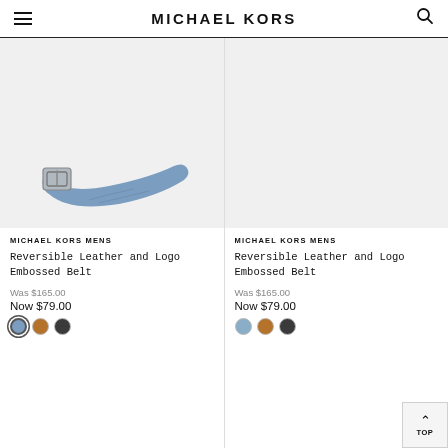MICHAEL KORS
[Figure (photo): Blue leather reversible belt with silver rectangular buckle on light grey background]
MICHAEL KORS MENS
Reversible Leather and Logo Embossed Belt
Was $165.00
Now $79.00
[Figure (photo): Second product image placeholder on light grey background (belt not visible)]
MICHAEL KORS MENS
Reversible Leather and Logo Embossed Belt
Was $165.00
Now $79.00